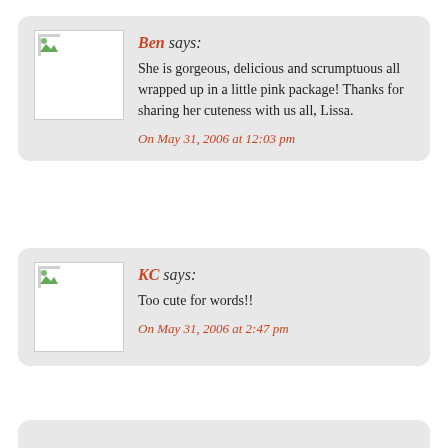Ben says: She is gorgeous, delicious and scrumptuous all wrapped up in a little pink package! Thanks for sharing her cuteness with us all, Lissa. On May 31, 2006 at 12:03 pm
KC says: Too cute for words!! On May 31, 2006 at 2:47 pm